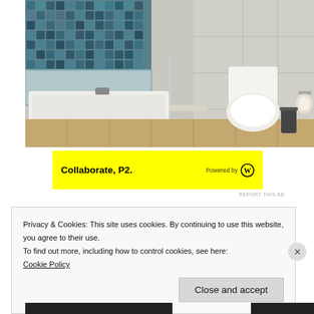[Figure (photo): Bathroom interior with teal mosaic tiles, a bathtub, glass shower enclosure, toilet with toilet paper holder, and wooden floor tiles]
[Figure (screenshot): Yellow advertisement banner reading 'Collaborate, P2.' with 'Powered by' and WordPress logo on the right]
REPORT THIS AD
Privacy & Cookies: This site uses cookies. By continuing to use this website, you agree to their use.
To find out more, including how to control cookies, see here:
Cookie Policy
Close and accept